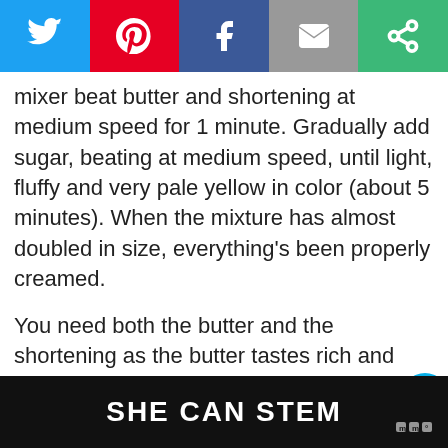[Figure (other): Social sharing bar with Twitter, Pinterest, Facebook, Email, and share icons]
mixer beat butter and shortening at medium speed for 1 minute. Gradually add sugar, beating at medium speed, until light, fluffy and very pale yellow in color (about 5 minutes). When the mixture has almost doubled in size, everything's been properly creamed.
You need both the butter and the shortening as the butter tastes rich and delicious but the shortening has a higher melting point and makes a more tender cake.
Pound cakes are done when the internal temperature reaches 205-210 degrees. Because
[Figure (other): WHAT'S NEXT arrow label with Chocolate Pound Cake thumbnail]
SHE CAN STEM